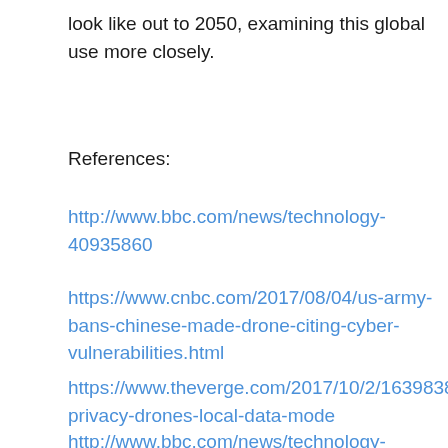look like out to 2050, examining this global use more closely.
References:
http://www.bbc.com/news/technology-40935860
https://www.cnbc.com/2017/08/04/us-army-bans-chinese-made-drone-citing-cyber-vulnerabilities.html
https://www.theverge.com/2017/10/2/16398386/dji-privacy-drones-local-data-mode
http://www.bbc.com/news/technology-